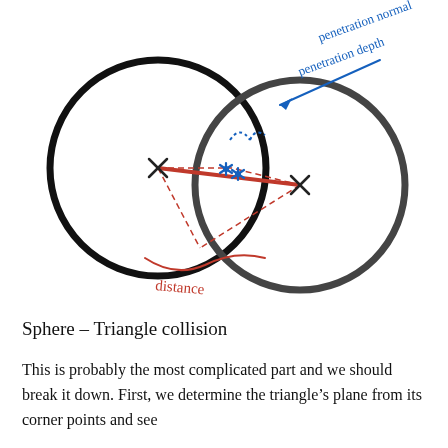[Figure (schematic): Two overlapping circles (sphere-sphere collision diagram). Left circle is black outline, right circle is dark gray. A red line connects the two centers (marked with X). Two blue asterisk points mark the collision intersection. Blue handwritten labels: 'penetration depth' with a curved brace and 'penetration normal' with an arrow. Red handwritten label 'distance' with a curved brace below. Dashed red lines indicate radii from centers to intersection.]
Sphere – Triangle collision
This is probably the most complicated part and we should break it down. First, we determine the triangle's plane from its corner points and see